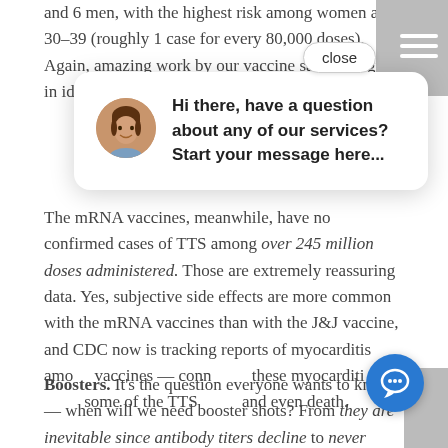and 6 men, with the highest risk among women ages 30–39 (roughly 1 case for every 80,000 doses). Again, amazing work by our vaccine safety program in identifying this important safety signal.
The mRNA vaccines, meanwhile, have no confirmed cases of TTS among over 245 million doses administered. Those are extremely reassuring data. Yes, subjective side effects are more common with the mRNA vaccines than with the J&J vaccine, and CDC now is tracking reports of myocarditis among — conn these myocarditi some of the TTS and even death.
Boosters. It's the question everyone wants to know — when will we need booster shots? From they are inevitable since antibody titers decline to never since cellular immunity is forever, the honest response is that
[Figure (screenshot): Chat widget overlay showing a close button and a chat bubble with an avatar and the message: 'Hi there, have a question about any of our services? Start your message here...']